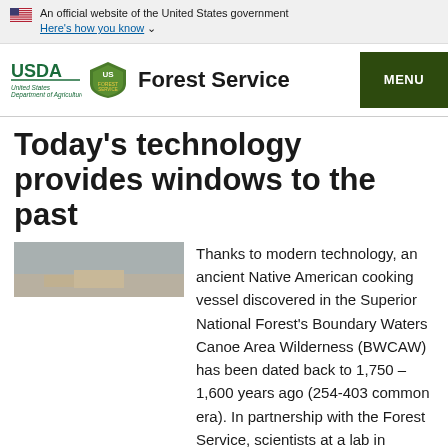An official website of the United States government Here's how you know
[Figure (logo): USDA Forest Service logo with USDA wordmark, Forest Service shield, and 'Forest Service' text, plus MENU button]
Today's technology provides windows to the past
[Figure (photo): Laurel Period Ceramic Sherds photo - gray/beige toned image of ceramic fragments]
Laurel Period Ceramic Sherds from the
Thanks to modern technology, an ancient Native American cooking vessel discovered in the Superior National Forest's Boundary Waters Canoe Area Wilderness (BWCAW) has been dated back to 1,750 – 1,600 years ago (254-403 common era). In partnership with the Forest Service, scientists at a lab in California